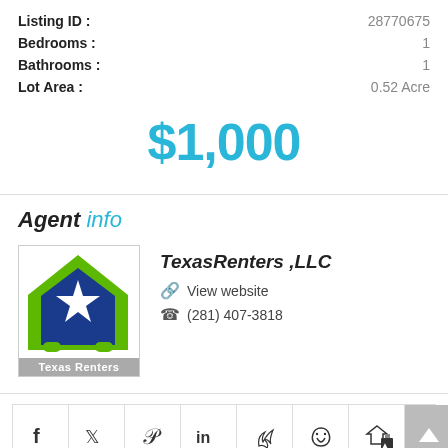| Property Detail | Value |
| --- | --- |
| Listing ID: | 28770675 |
| Bedrooms: | 1 |
| Bathrooms: | 1 |
| Lot Area: | 0.52 Acre |
$1,000
Agent info
[Figure (logo): Texas Renters LLC logo - green house outline with blue pentagon and white star, label 'Texas Renters' at bottom]
TexasRenters ,LLC
View website
(281) 407-3818
[Figure (infographic): Social sharing buttons row: Facebook, Twitter, Pinterest, LinkedIn, PDF, Favorite (heart), Report (flag), Scroll-to-top arrow]